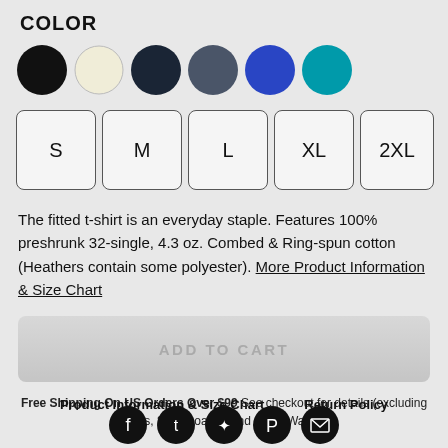COLOR
[Figure (infographic): Six color swatches in circles: black, cream/white, dark navy, slate gray, royal blue, teal]
S
M
L
XL
2XL
The fitted t-shirt is an everyday staple. Features 100% preshrunk 32-single, 4.3 oz. Combed & Ring-spun cotton (Heathers contain some polyester). More Product Information & Size Chart
ADD TO CART
Free Shipping On US Orders Over $99 See checkout for details (excluding Shoes, Skateboards, and some Wall Art)
Product Information & Size Chart    Return Policy
[Figure (infographic): Five social media icons in dark circles: Facebook, Tumblr, Twitter, Pinterest, Email/envelope]